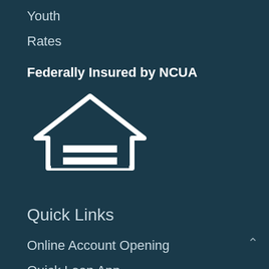Youth
Rates
Federally Insured by NCUA
[Figure (logo): Equal Housing Lender logo — white house outline with two horizontal bars inside, text reading EQUAL HOUSING LENDER below]
Quick Links
Online Account Opening
Quick Loan App